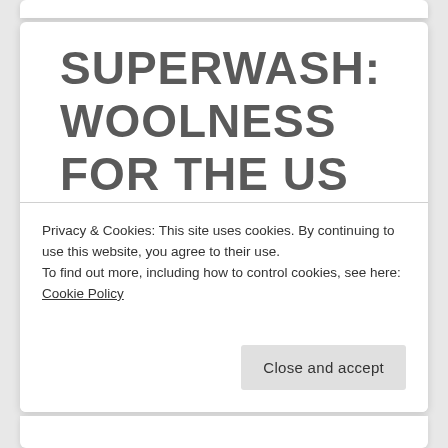SUPERWASH: WOOLNESS FOR THE US WOOL INDUSTRY
Privacy & Cookies: This site uses cookies. By continuing to use this website, you agree to their use.
To find out more, including how to control cookies, see here: Cookie Policy